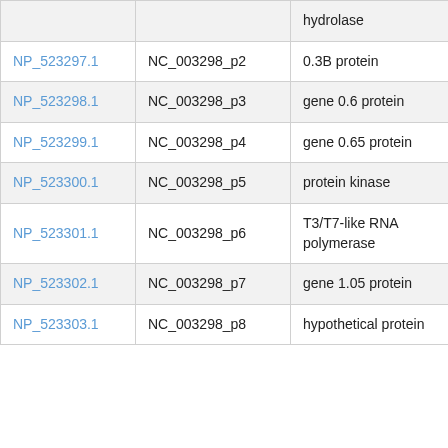|  |  | hydrolase |  |
| --- | --- | --- | --- |
| NP_523297.1 | NC_003298_p2 | 0.3B protein | phrog |
| NP_523298.1 | NC_003298_p3 | gene 0.6 protein | phrog |
| NP_523299.1 | NC_003298_p4 | gene 0.65 protein | phrog |
| NP_523300.1 | NC_003298_p5 | protein kinase | phrog |
| NP_523301.1 | NC_003298_p6 | T3/T7-like RNA polymerase | phrog |
| NP_523302.1 | NC_003298_p7 | gene 1.05 protein | phrog |
| NP_523303.1 | NC_003298_p8 | hypothetical protein | phrog |